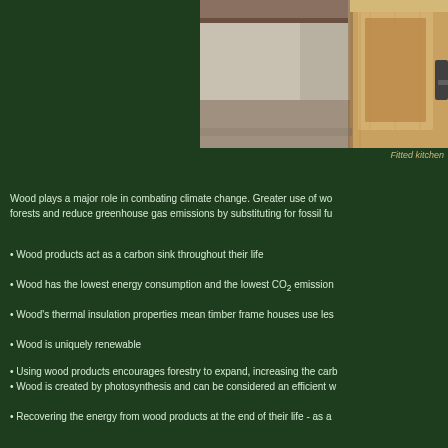[Figure (photo): Interior photo showing fitted kitchen with wooden cabinets and paneling]
Fitted kitchen
Wood plays a major role in combating climate change. Greater use of wo... forests and reduce greenhouse gas emissions by substituting for fossil fu...
Wood products act as a carbon sink throughout their life
Wood has the lowest energy consumption and the lowest CO2 emission...
Wood's thermal insulation properties mean timber frame houses use les...
Wood is uniquely renewable
Using wood products encourages forestry to expand, increasing the carb...
Wood is created by photosynthesis and can be considered an efficient w...
Recovering the energy from wood products at the end of their life - as a...